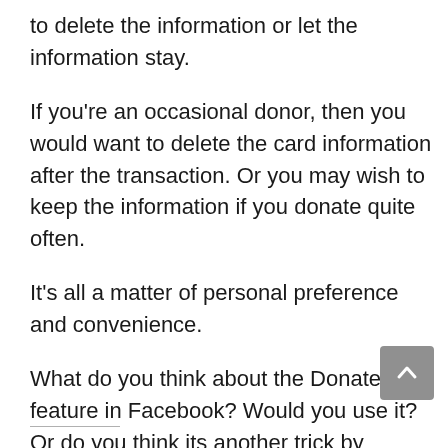to delete the information or let the information stay.
If you're an occasional donor, then you would want to delete the card information after the transaction. Or you may wish to keep the information if you donate quite often.
It's all a matter of personal preference and convenience.
What do you think about the Donate feature in Facebook? Would you use it? Or do you think its another trick by Facebook to get you to type your card info into their files?